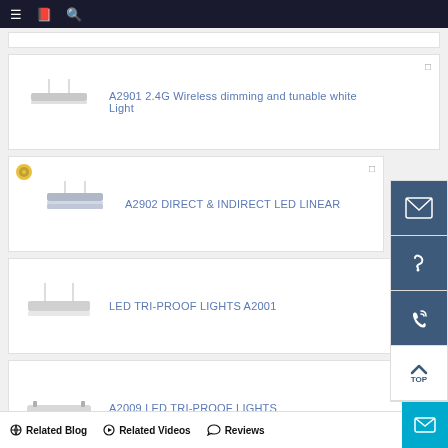Navigation bar with menu, book, and search icons
A2901 2.4G Wireless dimming and tunable white Light
A2902 DIRECT & INDIRECT LED LINEAR
LED TRI-PROOF LIGHTS A2001
A2009 LED TRI-PROOF LIGHTS
Related Blog  Related Videos  Reviews